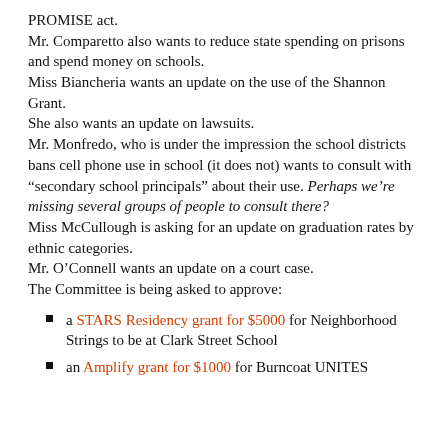PROMISE act.
Mr. Comparetto also wants to reduce state spending on prisons and spend money on schools.
Miss Biancheria wants an update on the use of the Shannon Grant.
She also wants an update on lawsuits.
Mr. Monfredo, who is under the impression the school districts bans cell phone use in school (it does not) wants to consult with “secondary school principals” about their use. Perhaps we’re missing several groups of people to consult there?
Miss McCullough is asking for an update on graduation rates by ethnic categories.
Mr. O’Connell wants an update on a court case.
The Committee is being asked to approve:
a STARS Residency grant for $5000 for Neighborhood Strings to be at Clark Street School
an Amplify grant for $1000 for Burncoat UNITES